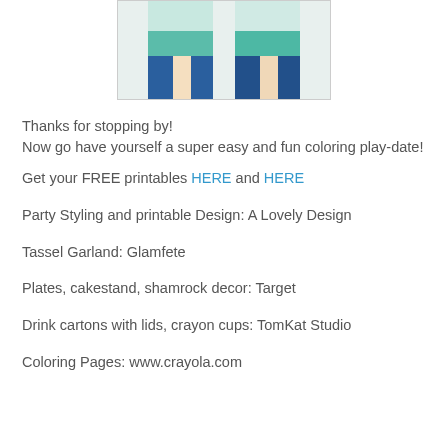[Figure (photo): Photo showing two people from the waist down wearing tie-dye skirts/shorts in teal and navy blue colors, standing against a light background.]
Thanks for stopping by!
Now go have yourself a super easy and fun coloring play-date!
Get your FREE printables HERE and HERE
Party Styling and printable Design: A Lovely Design
Tassel Garland: Glamfete
Plates, cakestand, shamrock decor: Target
Drink cartons with lids, crayon cups: TomKat Studio
Coloring Pages: www.crayola.com